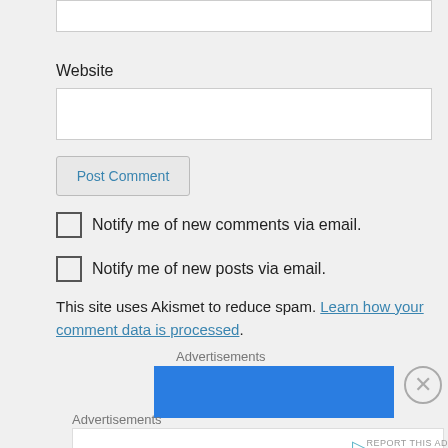Website
Post Comment
Notify me of new comments via email.
Notify me of new posts via email.
This site uses Akismet to reduce spam. Learn how your comment data is processed.
Advertisements
[Figure (other): Blue advertisement banner rectangle]
Advertisements
[Figure (other): White advertisement box with play icon]